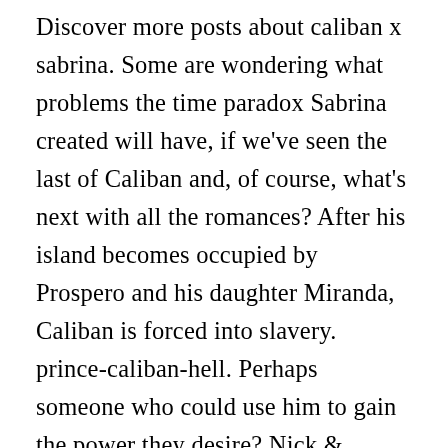Discover more posts about caliban x sabrina. Some are wondering what problems the time paradox Sabrina created will have, if we've seen the last of Caliban and, of course, what's next with all the romances? After his island becomes occupied by Prospero and his daughter Miranda, Caliban is forced into slavery. prince-caliban-hell. Perhaps someone who could use him to gain the power they desire? Nick & Sabrina Broke Up, Theo & Robin Got Together. Caliban is a bit miffed by all this, so he and Lucifer raise an army to avenge his dead wife. There is no official release date yet for part four of the series. Sadly, Chilling Adventures of Sabrina (a.k.a. Sabrina and Salem run through